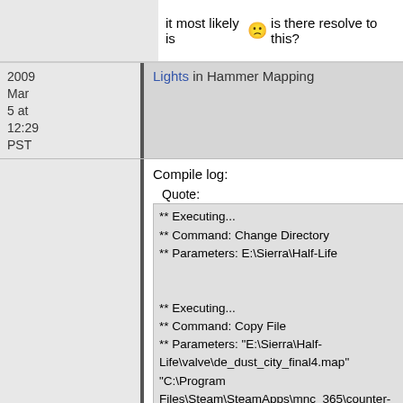it most likely is 😕 is there resolve to this?
2009 Mar 5 at 12:29 PST
Lights in Hammer Mapping
Compile log:
Quote:
** Executing...
** Command: Change Directory
** Parameters: E:\Sierra\Half-Life


** Executing...
** Command: Copy File
** Parameters: "E:\Sierra\Half-Life\valve\de_dust_city_final4.map" "C:\Program Files\Steam\SteamApps\mnc_365\counter-strike\cstrike\maps\de_dust_city_final4.map"


** Executing...
** Command: C:\PROGRA~1\ZHTL\hlcsg.exe
** Parameters:"C:\Program